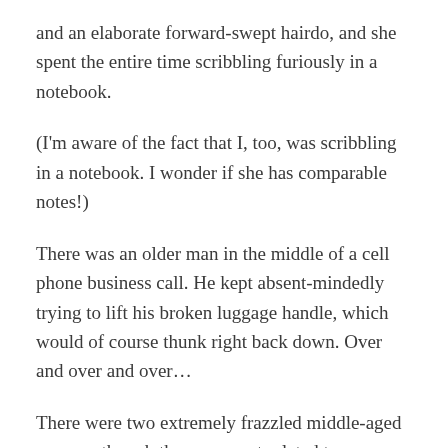and an elaborate forward-swept hairdo, and she spent the entire time scribbling furiously in a notebook.
(I'm aware of the fact that I, too, was scribbling in a notebook. I wonder if she has comparable notes!)
There was an older man in the middle of a cell phone business call. He kept absent-mindedly trying to lift his broken luggage handle, which would of course thunk right back down. Over and over and over…
There were two extremely frazzled middle-aged women, though they were not related to one another. The first woman caused a boarding delay, because a bag fell out of her checked luggage and instead of putting it back the airport tracked her down and sent her through the security checkpoint again so she could carry it on board